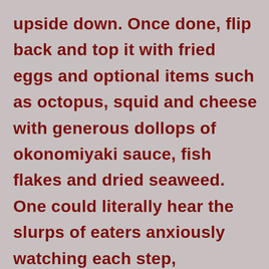upside down. Once done, flip back and top it with fried eggs and optional items such as octopus, squid and cheese with generous dollops of okonomiyaki sauce, fish flakes and dried seaweed. One could literally hear the slurps of eaters anxiously watching each step, mesmerized, till the hot concoction slid from the girdle to